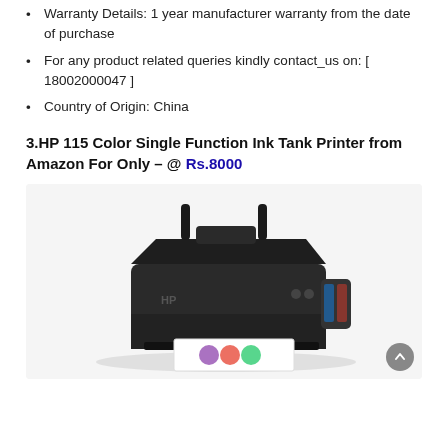Warranty Details: 1 year manufacturer warranty from the date of purchase
For any product related queries kindly contact_us on: [ 18002000047 ]
Country of Origin: China
3.HP 115 Color Single Function Ink Tank Printer from Amazon For Only – @ Rs.8000
[Figure (photo): HP 115 Color Single Function Ink Tank Printer shown at an angle, dark body with ink tank on the right side and a printed color page coming out from the front.]